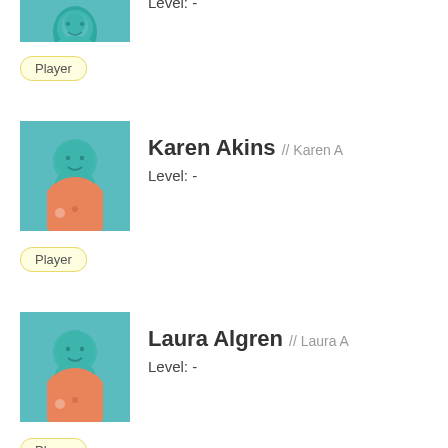[Figure (illustration): Partial view of a user avatar: teal head/face silhouette with orange jersey on teal background square, cropped at top]
Level: -
Player
[Figure (illustration): User avatar: teal head/face silhouette with orange jersey on teal background square]
Karen Akins // Karen A
Level: -
Player
[Figure (illustration): User avatar: teal head/face silhouette with orange jersey on teal background square]
Laura Algren // Laura A
Level: -
Player
[Figure (illustration): Partial user avatar: teal head/face silhouette with orange jersey on teal background square, cropped at bottom]
Alix // Alix